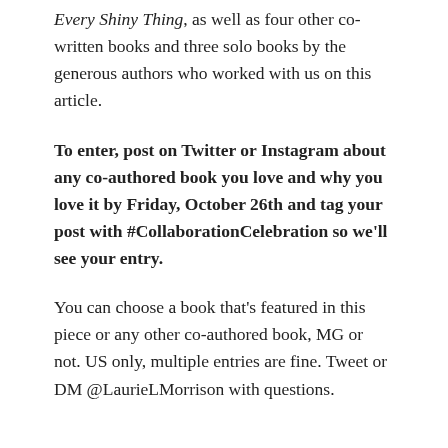Every Shiny Thing, as well as four other co-written books and three solo books by the generous authors who worked with us on this article.
To enter, post on Twitter or Instagram about any co-authored book you love and why you love it by Friday, October 26th and tag your post with #CollaborationCelebration so we'll see your entry.
You can choose a book that's featured in this piece or any other co-authored book, MG or not. US only, multiple entries are fine. Tweet or DM @LaurieLMorrison with questions.